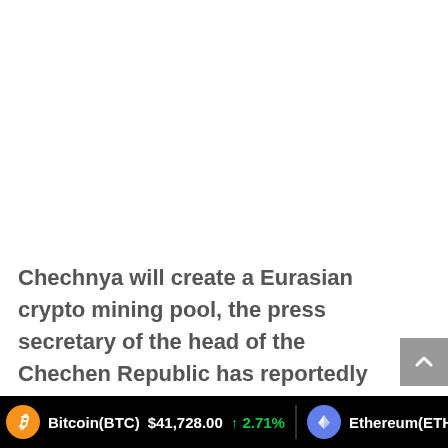Chechnya will create a Eurasian crypto mining pool, the press secretary of the head of the Chechen Republic has reportedly confirmed. The project aims to combine the resources of crypto miners from the Eurasian Economic Union countries.
Bitcoin(BTC) $41,728.00 ↑ 2.71%   Ethereum(ETH) $3,031.32